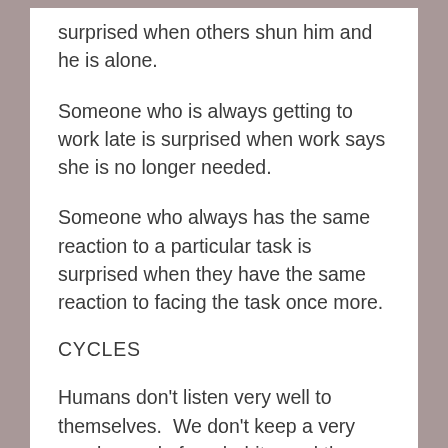surprised when others shun him and he is alone.
Someone who is always getting to work late is surprised when work says she is no longer needed.
Someone who always has the same reaction to a particular task is surprised when they have the same reaction to facing the task once more.
CYCLES
Humans don’t listen very well to themselves.  We don’t keep a very good record of our habits, and then when we repeat them, we act surprised.
As a counsellor, I guess I am in a privileged